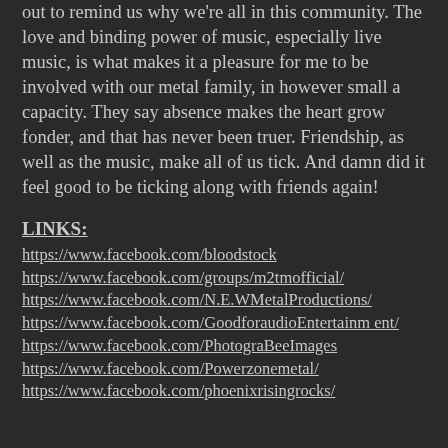out to remind us why we're all in this community. The love and binding power of music, especially live music, is what makes it a pleasure for me to be involved with our metal family, in however small a capacity. They say absence makes the heart grow fonder, and that has never been truer. Friendship, as well as the music, make all of us tick. And damn did it feel good to be ticking along with friends again!
LINKS:
https://www.facebook.com/bloodstock
https://www.facebook.com/groups/m2tmofficial/
https://www.facebook.com/N.E.WMetalProductions/
https://www.facebook.com/GoodforaudioEntertainment/
https://www.facebook.com/PhotograBeeImages
https://www.facebook.com/Powerzonemetal/
https://www.facebook.com/phoenixrisingrocks/